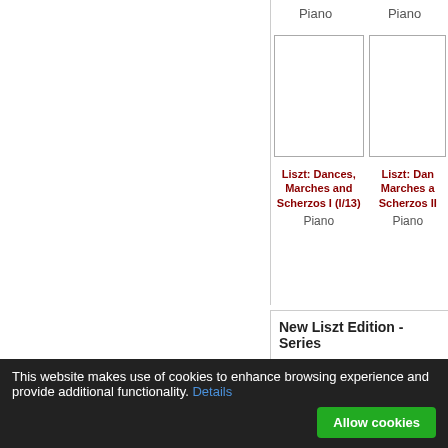Piano
Piano
[Figure (illustration): Book cover placeholder for Liszt: Dances, Marches and Scherzos I]
[Figure (illustration): Book cover placeholder for Liszt: Dances, Marches and Scherzos II]
Liszt: Dances, Marches and Scherzos I (I/13)
Liszt: Dances, Marches and Scherzos II
Piano
Piano
New Liszt Edition - Series
Blue cloth-bound volumes of t
[Figure (illustration): Small book cover placeholder]
[Figure (illustration): Small book cover placeholder]
This website makes use of cookies to enhance browsing experience and provide additional functionality. Details
Allow cookies